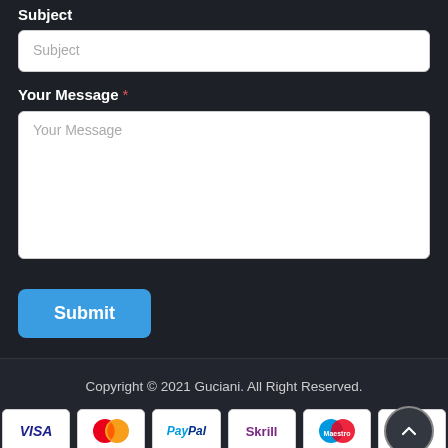Subject
Subject (input placeholder)
Your Message *
Your Message (textarea placeholder)
Submit
Copyright © 2021 Guciani. All Right Reserved.
[Figure (other): Payment method icons: VISA, MasterCard, PayPal, Skrill, Maestro, VISA Electron]